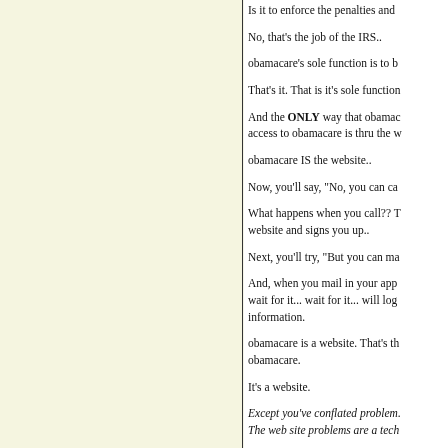Is it to enforce the penalties and
No, that's the job of the IRS..
obamacare's sole function is to b
That's it. That is it's sole function
And the ONLY way that obamac access to obamacare is thru the w
obamacare IS the website..
Now, you'll say, "No, you can ca
What happens when you call?? T website and signs you up..
Next, you'll try, "But you can ma
And, when you mail in your app wait for it... wait for it... will log information.
obamacare is a website. That's th obamacare.
It's a website.
Except you've conflated problem. The web site problems are a tech
True, but it's a difference that ma